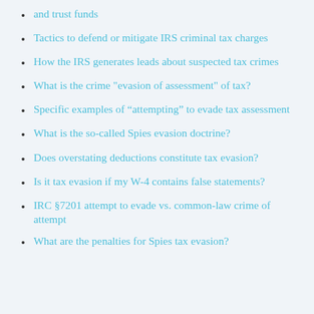and trust funds
Tactics to defend or mitigate IRS criminal tax charges
How the IRS generates leads about suspected tax crimes
What is the crime "evasion of assessment" of tax?
Specific examples of “attempting” to evade tax assessment
What is the so-called Spies evasion doctrine?
Does overstating deductions constitute tax evasion?
Is it tax evasion if my W-4 contains false statements?
IRC §7201 attempt to evade vs. common-law crime of attempt
What are the penalties for Spies tax evasion?